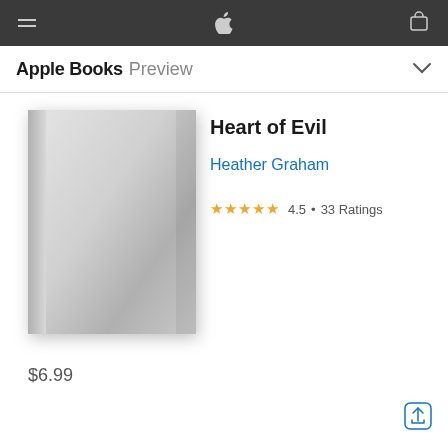Apple Books Preview
Heart of Evil
Heather Graham
★★★★★ 4.5 • 33 Ratings
[Figure (illustration): Gray book cover placeholder with gradient shading, spine visible on left side]
$6.99